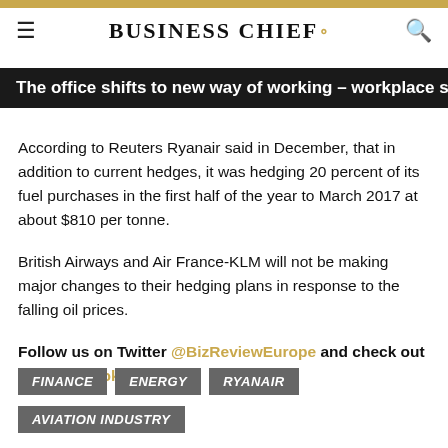BUSINESS CHIEF.
The office shifts to new way of working – workplace spe
According to Reuters Ryanair said in December, that in addition to current hedges, it was hedging 20 percent of its fuel purchases in the first half of the year to March 2017 at about $810 per tonne.
British Airways and Air France-KLM will not be making major changes to their hedging plans in response to the falling oil prices.
Follow us on Twitter @BizReviewEurope and check out our Facebook page.
FINANCE
ENERGY
RYANAIR
AVIATION INDUSTRY